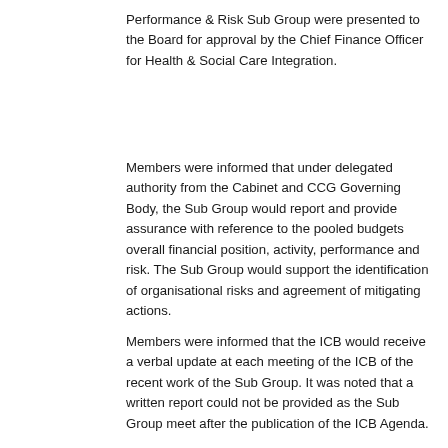Performance & Risk Sub Group were presented to the Board for approval by the Chief Finance Officer for Health & Social Care Integration.
Members were informed that under delegated authority from the Cabinet and CCG Governing Body, the Sub Group would report and provide assurance with reference to the pooled budgets overall financial position, activity, performance and risk. The Sub Group would support the identification of organisational risks and agreement of mitigating actions.
Members were informed that the ICB would receive a verbal update at each meeting of the ICB of the recent work of the Sub Group. It was noted that a written report could not be provided as the Sub Group meet after the publication of the ICB Agenda.